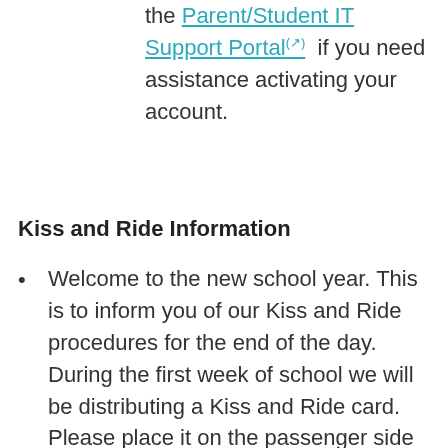Please submit a ticket in the Parent/Student IT Support Portal if you need assistance activating your account.
Kiss and Ride Information
Welcome to the new school year. This is to inform you of our Kiss and Ride procedures for the end of the day. During the first week of school we will be distributing a Kiss and Ride card. Please place it on the passenger side dashboard of your vehicle with your child's name and grade level. All students will be waiting in the cafeteria and we will be calling students to cars as you arrive. Beginning September 6th if you do not have the card...